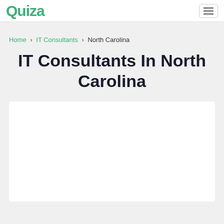Quiza [logo] [hamburger menu]
Home > IT Consultants > North Carolina
IT Consultants In North Carolina
[Figure (other): White content area / advertisement placeholder box]